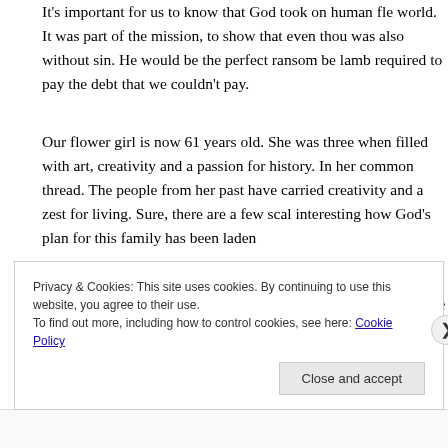It's important for us to know that God took on human fle... world. It was part of the mission, to show that even thou... was also without sin. He would be the perfect ransom be... lamb required to pay the debt that we couldn't pay.
Our flower girl is now 61 years old. She was three when... filled with art, creativity and a passion for history. In her... common thread. The people from her past have carried... creativity and a zest for living. Sure, there are a few sca... interesting how God's plan for this family has been laden...
So, as we look at our past, we can often discover what lie... us. Are we leaving a legacy that will be honored for year...
Privacy & Cookies: This site uses cookies. By continuing to use this website, you agree to their use.
To find out more, including how to control cookies, see here: Cookie Policy